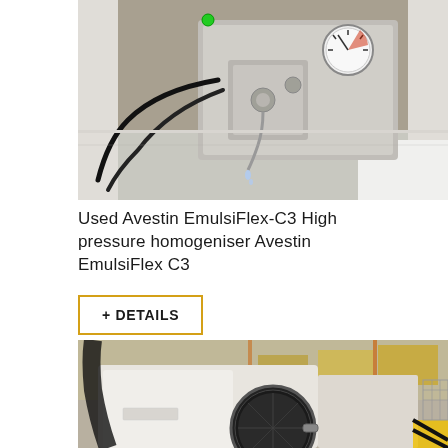[Figure (photo): Close-up photo of an Avestin EmulsiFlex-C3 high pressure homogeniser showing stainless steel pump head, pressure gauge, tubing and cables on a metal surface]
Used Avestin EmulsiFlex-C3 High pressure homogeniser Avestin EmulsiFlex C3
+ DETAILS
[Figure (photo): Photo of laboratory/industrial equipment in a warehouse or storage facility, showing what appears to be a white autoclave or sterilizer with a round dark door, surrounded by shelving and boxes]